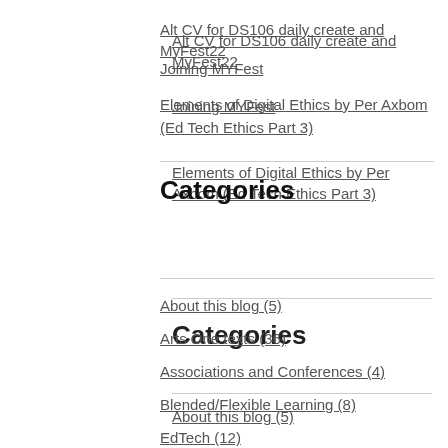Alt CV for DS106 daily create and MyFest22
Joining MYFest
Elements of Digital Ethics by Per Axbom (Ed Tech Ethics Part 3)
Categories
About this blog (5)
Arts One texts (36)
Associations and Conferences (4)
Blended/Flexible Learning (8)
EdTech (12)